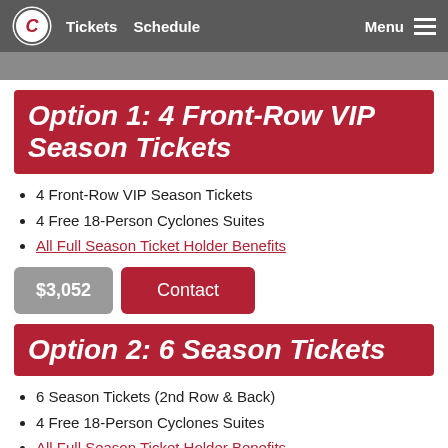Tickets  Schedule  Menu
Option 1: 4 Front-Row VIP Season Tickets
4 Front-Row VIP Season Tickets
4 Free 18-Person Cyclones Suites
All Full Season Ticket Holder Benefits
$3,052  Contact
Option 2: 6 Season Tickets
6 Season Tickets (2nd Row & Back)
4 Free 18-Person Cyclones Suites
All Full Season Ticket Holder Benefits